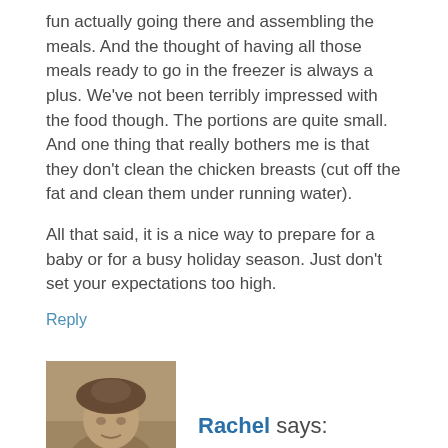fun actually going there and assembling the meals. And the thought of having all those meals ready to go in the freezer is always a plus. We've not been terribly impressed with the food though. The portions are quite small. And one thing that really bothers me is that they don't clean the chicken breasts (cut off the fat and clean them under running water).
All that said, it is a nice way to prepare for a baby or for a busy holiday season. Just don't set your expectations too high.
Reply
[Figure (photo): Avatar photo of Rachel - a person in vintage or costume attire, sepia-toned image]
Rachel says:
November 10, 2008 at 8:00 am